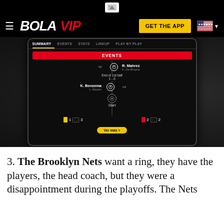[Figure (screenshot): BolаVIP website screenshot showing a mobile app interface with a soccer match summary including EVENTS tab showing R. Mahrez (K. De Bruyne assist) at 79', End of 1st half 1-0, K. Benzema (L. Modric assist) at 14', and Start marker. Bottom stats show yellow card, 1, substitutions 3 for left side and red card 2, substitutions 2 for right side. A 'Ver más' button appears at the bottom.]
3. The Brooklyn Nets want a ring, they have the players, the head coach, but they were a disappointment during the playoffs. The Nets